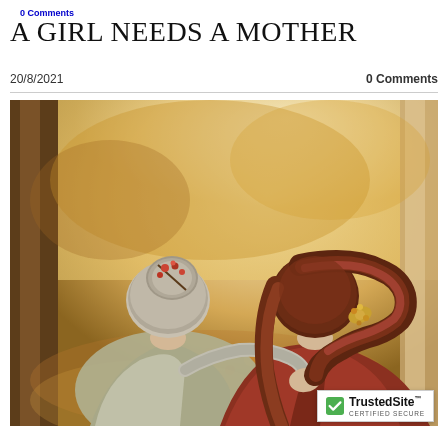0 Comments
A GIRL NEEDS A MOTHER
20/8/2021    0 Comments
[Figure (illustration): A digital painting showing two women seen from behind, one older with grey hair in a bun adorned with small red flowers and wearing a grey wrap, and one younger with long auburn hair held by a floral clip and wearing a rust/burgundy top. The older woman has her arm around the younger one. They stand among warm-toned autumn trees with golden and amber foliage. The style is painterly and romantic.]
TrustedSite CERTIFIED SECURE